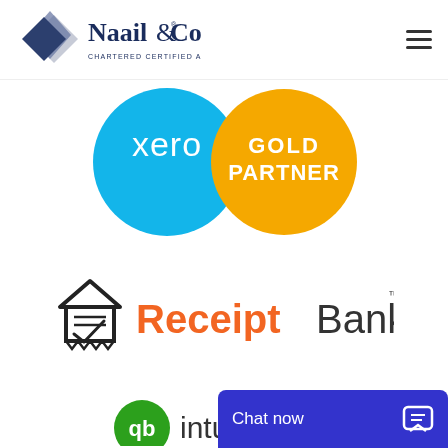[Figure (logo): Naail & Co Chartered Certified Accountants logo with diamond/rhombus geometric icon in blue-grey tones and serif wordmark]
[Figure (logo): Xero Gold Partner logo: two overlapping circles — left circle in teal/cyan with 'xero' text and dot, right circle in golden yellow with 'GOLD PARTNER' text]
[Figure (logo): Receipt Bank logo: house/receipt icon in black outline with checkmark, followed by 'Receipt' in orange bold text and 'Bank' in dark grey text with trademark symbol]
[Figure (logo): Intuit QuickBooks logo partially visible at bottom — green circular icon and partial text 'intui...']
Chat now